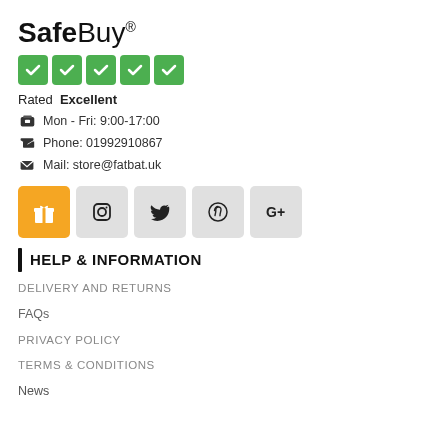SafeBuy®
[Figure (illustration): Five green checkmark boxes in a row]
Rated Excellent
🧳 Mon - Fri: 9:00-17:00
📞 Phone: 01992910867
✉ Mail: store@fatbat.uk
[Figure (illustration): Social media icons row: gift/orange, Instagram, Twitter, Pinterest, Google+]
HELP & INFORMATION
DELIVERY AND RETURNS
FAQs
PRIVACY POLICY
TERMS & CONDITIONS
News